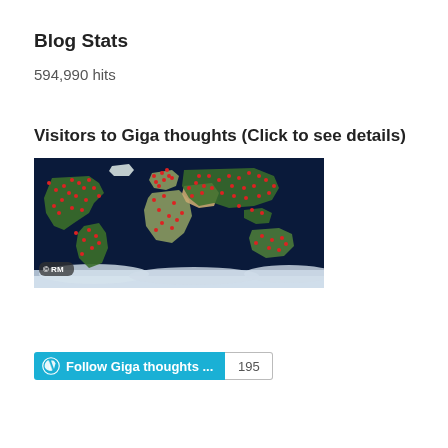Blog Stats
594,990 hits
Visitors to Giga thoughts (Click to see details)
[Figure (map): World map with dark blue ocean background showing red dots scattered across continents representing visitor locations. Continents are shown in green/tan. A watermark '© RM' appears in the bottom-left corner. Cloud-like imagery at the bottom.]
Follow Giga thoughts ... 195